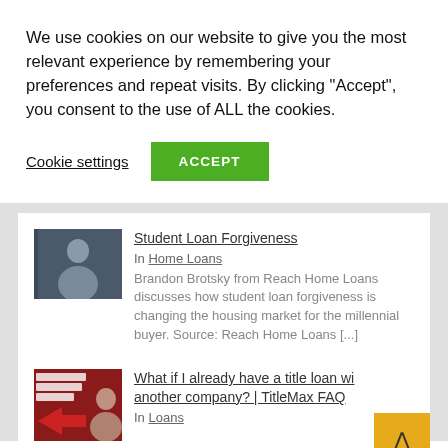We use cookies on our website to give you the most relevant experience by remembering your preferences and repeat visits. By clicking “Accept”, you consent to the use of ALL the cookies.
Cookie settings
ACCEPT
Student Loan Forgiveness
In Home Loans
Brandon Brotsky from Reach Home Loans discusses how student loan forgiveness is changing the housing market for the millennial buyer. Source: Reach Home Loans [...]
[Figure (photo): Thumbnail image of a person for the Student Loan Forgiveness article]
What if I already have a title loan with another company? | TitleMax FAQ
In Loans
[Figure (photo): Thumbnail image for the TitleMax FAQ article with red arrow and text overlay]